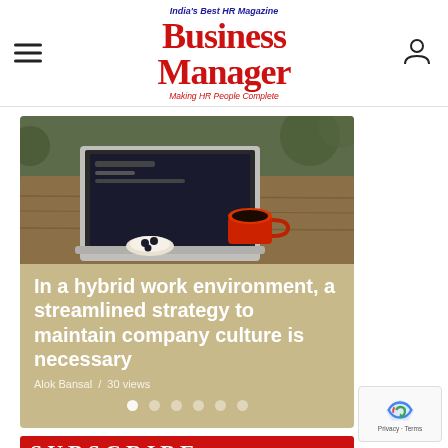India's Best HR Magazine — Business Manager — Making HR People Complete
[Figure (photo): Laptop and red coffee mug on a wooden outdoor table with food, viewed from above]
In a hybrid work environment, a streamlined strategy to maintain company culture is necessary
Alok Bansal  /  30 views
[Figure (infographic): Carousel navigation dots, first dot active]
[Figure (infographic): Subscribe banner: SUBSCRIBE now the all new Business Manager HR Magazine in both]
[Figure (other): reCAPTCHA widget with Privacy · Terms]